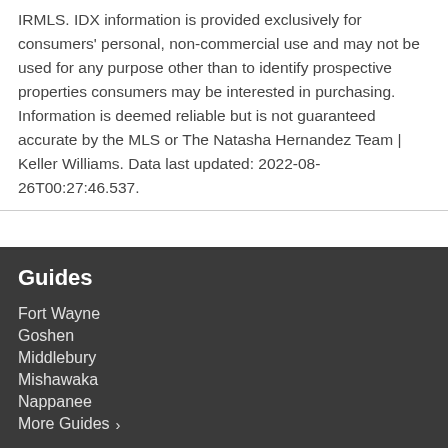IRMLS. IDX information is provided exclusively for consumers' personal, non-commercial use and may not be used for any purpose other than to identify prospective properties consumers may be interested in purchasing. Information is deemed reliable but is not guaranteed accurate by the MLS or The Natasha Hernandez Team | Keller Williams. Data last updated: 2022-08-26T00:27:46.537.
Guides
Fort Wayne
Goshen
Middlebury
Mishawaka
Nappanee
More Guides
Take a Tour
Ask A Question
Translate